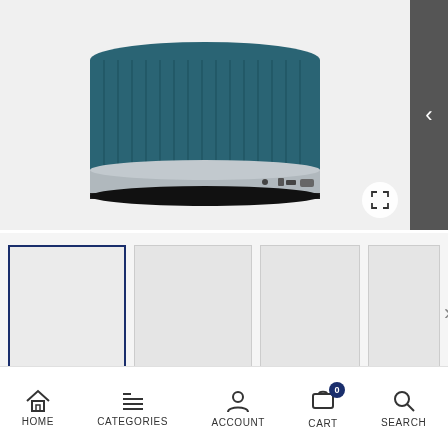[Figure (photo): Teal cylindrical Bluetooth speaker shown from slightly above, bottom portion visible with silver base and USB/button details, on light grey background. Expand icon in bottom right. Right side navigation arrow.]
[Figure (screenshot): Thumbnail image strip with 4 product image thumbnails; first thumbnail selected with dark blue border, three others unselected. Right arrow navigation button at the end.]
Soft Sound Marker
HOME   CATEGORIES   ACCOUNT   CART 0   SEARCH